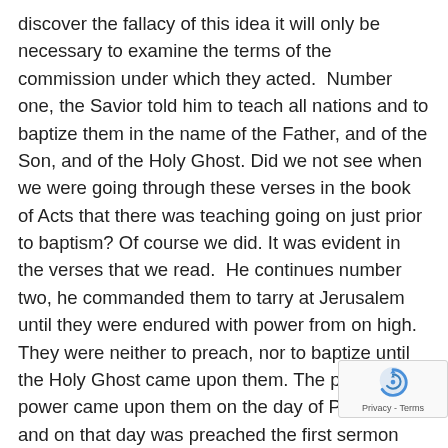discover the fallacy of this idea it will only be necessary to examine the terms of the commission under which they acted.  Number one, the Savior told him to teach all nations and to baptize them in the name of the Father, and of the Son, and of the Holy Ghost. Did we not see when we were going through these verses in the book of Acts that there was teaching going on just prior to baptism? Of course we did. It was evident in the verses that we read.  He continues number two, he commanded them to tarry at Jerusalem until they were endured with power from on high. They were neither to preach, nor to baptize until the Holy Ghost came upon them. The promised power came upon them on the day of Pentecost, and on that day was preached the first sermon after the Great Commission was given. You see how he's tying everything with the Great Commission here that Christ gave to his disciples just before he left.  And then number four, if they and th is what I really want us to focus on because this is one
[Figure (other): reCAPTCHA badge with icon and Privacy - Terms text]